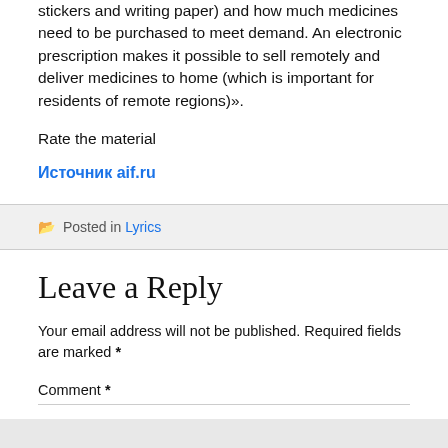stickers and writing paper) and how much medicines need to be purchased to meet demand. An electronic prescription makes it possible to sell remotely and deliver medicines to home (which is important for residents of remote regions)».
Rate the material
Источник aif.ru
Posted in Lyrics
Leave a Reply
Your email address will not be published. Required fields are marked *
Comment *